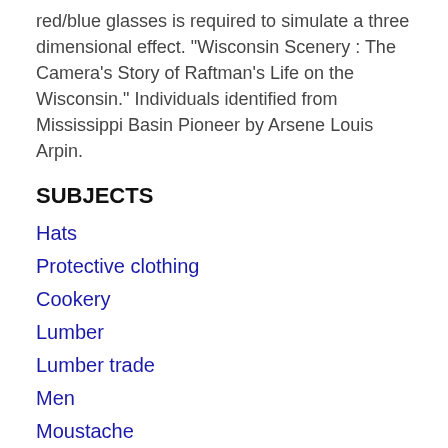red/blue glasses is required to simulate a three dimensional effect. "Wisconsin Scenery : The Camera's Story of Raftman's Life on the Wisconsin." Individuals identified from Mississippi Basin Pioneer by Arsene Louis Arpin.
SUBJECTS
Hats
Protective clothing
Cookery
Lumber
Lumber trade
Men
Moustache
Outdoor photography
Cleaning
Boats and boating
Ri...